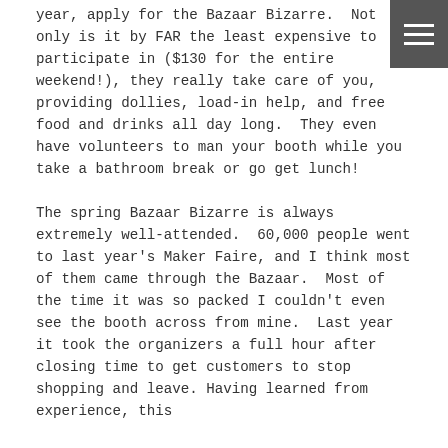year, apply for the Bazaar Bizarre.  Not only is it by FAR the least expensive to participate in ($130 for the entire weekend!), they really take care of you, providing dollies, load-in help, and free food and drinks all day long.  They even have volunteers to man your booth while you take a bathroom break or go get lunch!

The spring Bazaar Bizarre is always extremely well-attended.  60,000 people went to last year's Maker Faire, and I think most of them came through the Bazaar.  Most of the time it was so packed I couldn't even see the booth across from mine.  Last year it took the organizers a full hour after closing time to get customers to stop shopping and leave.  Having learned from experience, this